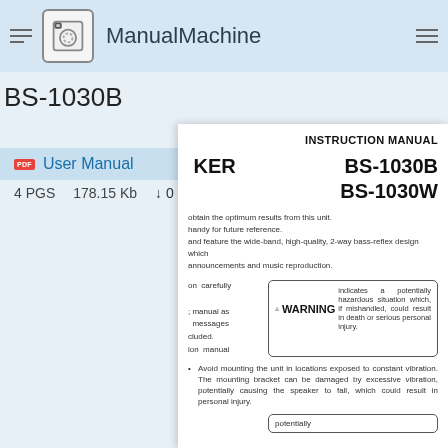ManualMachine
BS-1030B
User Manual - 4 PGS  178.15 Kb  ↓ 0
INSTRUCTION MANUAL
KER  BS-1030B  BS-1030W
obtain the optimum results from this unit. handy for future reference. and feature the wide-band, high-quality, 2-way bass-reflex design which announcements and music reproduction.
WARNING  indicates a potentially hazardous situation which, if mishandled, could result in death or serious personal injury.
Avoid mounting the unit in locations exposed to constant vibration. The mounting bracket can be damaged by excessive vibration, potentially causing the speaker to fall, which could result in personal injury.
on carefully
; manual as messages cluded. ion manual
potentially